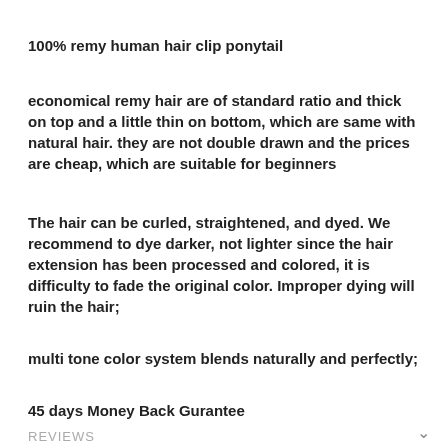100% remy human hair clip ponytail
economical remy hair are of standard ratio and thick on top and a little thin on bottom, which are same with natural hair. they are not double drawn and the prices are cheap, which are suitable for beginners
The hair can be curled, straightened, and dyed. We recommend to dye darker, not lighter since the hair extension has been processed and colored, it is difficulty to fade the original color. Improper dying will ruin the hair;
multi tone color system blends naturally and perfectly;
45 days Money Back Gurantee
REVIEWS